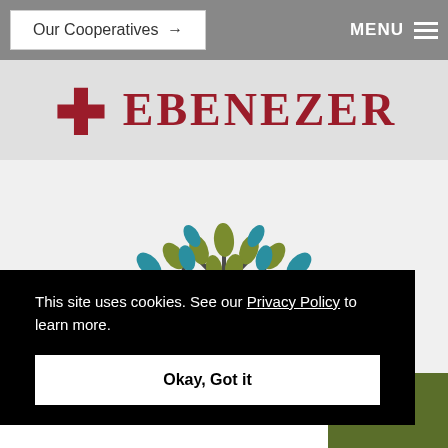Our Cooperatives →   MENU ≡
[Figure (logo): Ebenezer logo with cross symbol and large red text reading EBENEZER]
[Figure (illustration): Stylized tree illustration with branches and blue and olive/green leaves on a light gray background]
This site uses cookies. See our Privacy Policy to learn more.
Okay, Got it